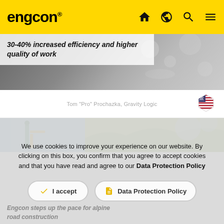engcon
[Figure (photo): Close-up of excavation/water splash with white overlay text: 30-40% increased efficiency and higher quality of work]
Tom "Pro" Prochazka, Gravity Logic
[Figure (photo): Construction/outdoor scene with blue sky and equipment]
We use cookies to improve your experience on our website. By clicking on this box, you confirm that you agree to accept cookies and that you have read and agree to our Data Protection Policy
I accept
Data Protection Policy
Engcon steps up the pace for alpine road construction